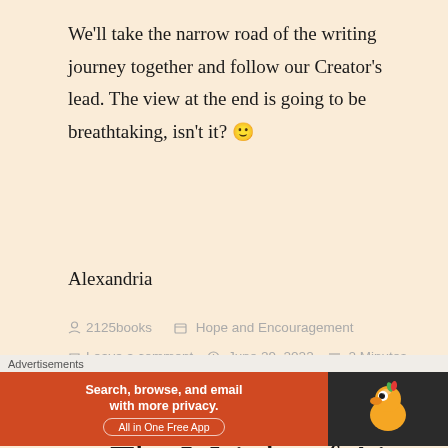We'll take the narrow road of the writing journey together and follow our Creator's lead. The view at the end is going to be breathtaking, isn't it? 🙂
Alexandria
2125books   Hope and Encouragement   Leave a comment   June 29, 2022   2 Minutes
Featured  Cover Reveal: The Weight of Air
Advertisements
[Figure (other): DuckDuckGo advertisement banner — orange left panel with text 'Search, browse, and email with more privacy. All in One Free App', dark right panel with DuckDuckGo duck logo]